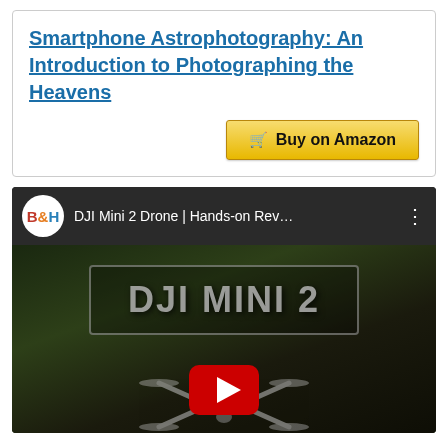Smartphone Astrophotography: An Introduction to Photographing the Heavens
[Figure (screenshot): Buy on Amazon button with shopping cart icon, yellow/gold gradient background]
[Figure (screenshot): YouTube video embed showing B&H channel video titled 'DJI Mini 2 Drone | Hands-on Rev...' with DJI Mini 2 drone visible and YouTube play button overlay]